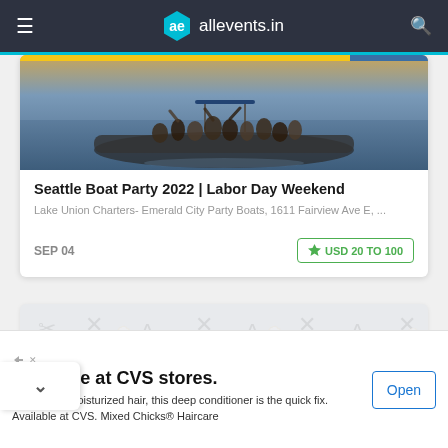allevents.in
[Figure (photo): Boat party crowd on water at sunset]
Seattle Boat Party 2022 | Labor Day Weekend
Lake Union Charters- Emerald City Party Boats, 1611 Fairview Ave E, ...
SEP 04
USD 20 TO 100
[Figure (illustration): Placeholder card with icon pattern]
Available at CVS stores.
If you want moisturized hair, this deep conditioner is the quick fix. Available at CVS. Mixed Chicks® Haircare